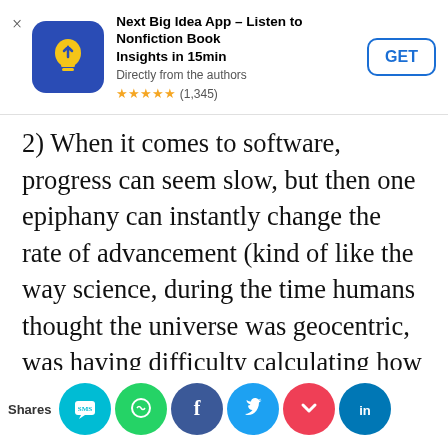[Figure (screenshot): App store advertisement banner for 'Next Big Idea App – Listen to Nonfiction Book Insights in 15min'. Shows app icon (blue with yellow lightbulb), title, subtitle 'Directly from the authors', star rating ★★★★★ (1,345), and a GET button.]
2) When it comes to software, progress can seem slow, but then one epiphany can instantly change the rate of advancement (kind of like the way science, during the time humans thought the universe was geocentric, was having difficulty calculating how the universe worked, but then the discovery that it was heliocentric suddenly made everything much easier). Or,
when it comes to something like computer
[Figure (screenshot): Social sharing bar at the bottom with icons for: SMS/chat app (teal), WhatsApp (green), Facebook (blue), Twitter (blue), Pocket (red), LinkedIn (blue). 'Shares' label on left.]